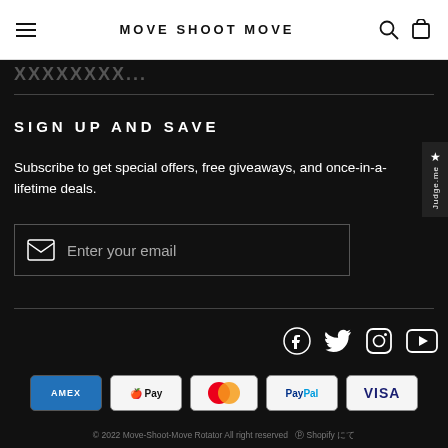MOVE SHOOT MOVE
SIGN UP AND SAVE
Subscribe to get special offers, free giveaways, and once-in-a-lifetime deals.
Enter your email
[Figure (illustration): Social media icons: Facebook, Twitter, Instagram, YouTube]
[Figure (illustration): Payment method badges: American Express, Apple Pay, Mastercard, PayPal, Visa]
© 2022 Move-Shoot-Move Rotator All right reserved  ⓟ Shopify にて